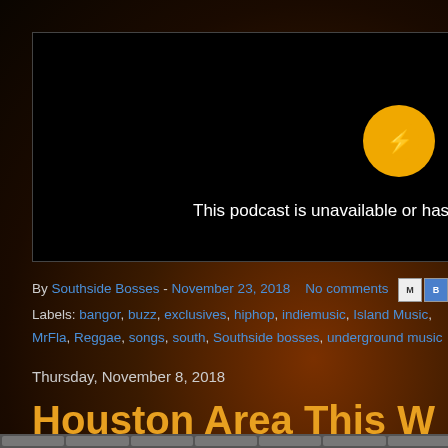[Figure (screenshot): Embedded podcast player showing black background with yellow circular plug/disconnect icon and text 'This podcast is unavailable or has']
By Southside Bosses - November 23, 2018   No comments
Labels: bangor, buzz, exclusives, hiphop, indiemusic, Island Music, MrFl..., Reggae, songs, south, Southside bosses, underground music
Thursday, November 8, 2018
Houston Area This W